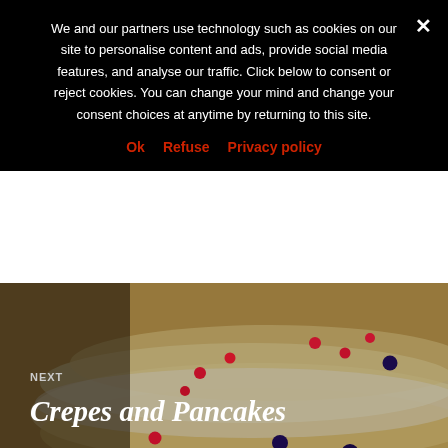We and our partners use technology such as cookies on our site to personalise content and ads, provide social media features, and analyse our traffic. Click below to consent or reject cookies. You can change your mind and change your consent choices at anytime by returning to this site.
Ok   Refuse   Privacy policy
[Figure (photo): Photo of a layered crepe cake decorated with raspberries and blueberries, shown as the 'Next' post thumbnail with title 'Crepes and Pancakes' overlaid]
NEXT
Crepes and Pancakes
[Figure (other): Circular button with three dots (ellipsis) for menu/more options]
[Figure (other): Social media icons: Twitter bird icon and Facebook icon in dark footer bar]
Proudly powered by WordPress  Theme: Canard by Automattic   Follow